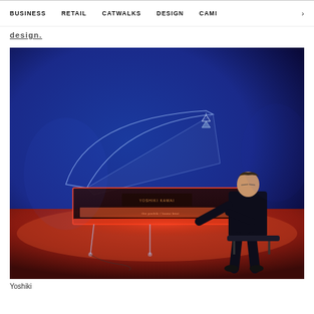BUSINESS   RETAIL   CATWALKS   DESIGN   CAMI >
design.
[Figure (photo): A man in a dark suit sits at a transparent acrylic grand piano, illuminated with red and blue neon lighting against a deep blue background. The piano glows with red light from underneath, creating a dramatic artistic scene.]
Yoshiki